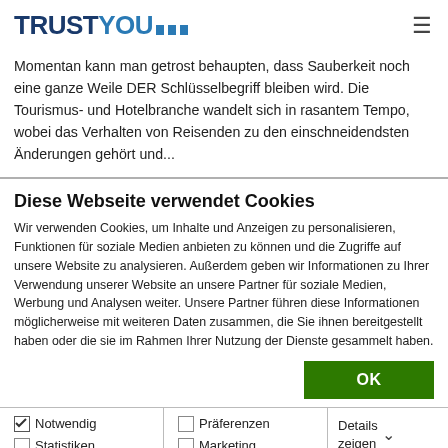TRUSTYOU
Momentan kann man getrost behaupten, dass Sauberkeit noch eine ganze Weile DER Schlüsselbegriff bleiben wird. Die Tourismus- und Hotelbranche wandelt sich in rasantem Tempo, wobei das Verhalten von Reisenden zu den einschneidendsten Änderungen gehört und...
Diese Webseite verwendet Cookies
Wir verwenden Cookies, um Inhalte und Anzeigen zu personalisieren, Funktionen für soziale Medien anbieten zu können und die Zugriffe auf unsere Website zu analysieren. Außerdem geben wir Informationen zu Ihrer Verwendung unserer Website an unsere Partner für soziale Medien, Werbung und Analysen weiter. Unsere Partner führen diese Informationen möglicherweise mit weiteren Daten zusammen, die Sie ihnen bereitgestellt haben oder die sie im Rahmen Ihrer Nutzung der Dienste gesammelt haben.
OK
Notwendig
Statistiken
Präferenzen
Marketing
Details zeigen